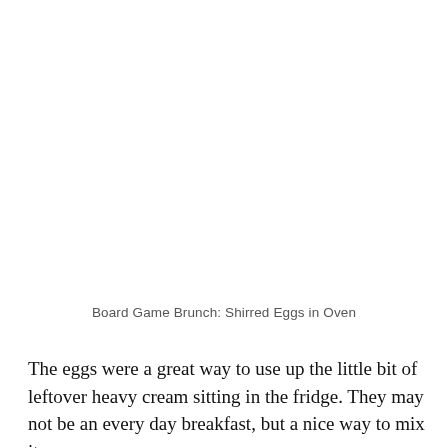[Figure (photo): Photo area (image of shirred eggs in oven, white/blank in this render)]
Board Game Brunch: Shirred Eggs in Oven
The eggs were a great way to use up the little bit of leftover heavy cream sitting in the fridge. They may not be an every day breakfast, but a nice way to mix it up.